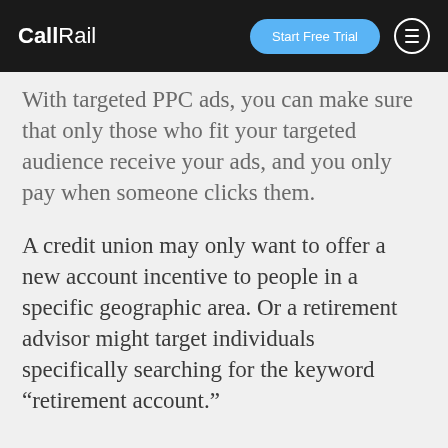CallRail | Start Free Trial
With targeted PPC ads, you can make sure that only those who fit your targeted audience receive your ads, and you only pay when someone clicks them.
A credit union may only want to offer a new account incentive to people in a specific geographic area. Or a retirement advisor might target individuals specifically searching for the keyword “retirement account.”